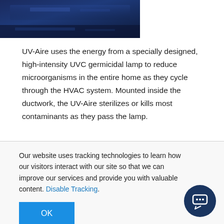[Figure (photo): Blue-tinted image, partially cropped at top, showing a dark blue UV/electrical equipment or industrial product background.]
UV-Aire uses the energy from a specially designed, high-intensity UVC germicidal lamp to reduce microorganisms in the entire home as they cycle through the HVAC system. Mounted inside the ductwork, the UV-Aire sterilizes or kills most contaminants as they pass the lamp.
Our website uses tracking technologies to learn how our visitors interact with our site so that we can improve our services and provide you with valuable content. Disable Tracking.